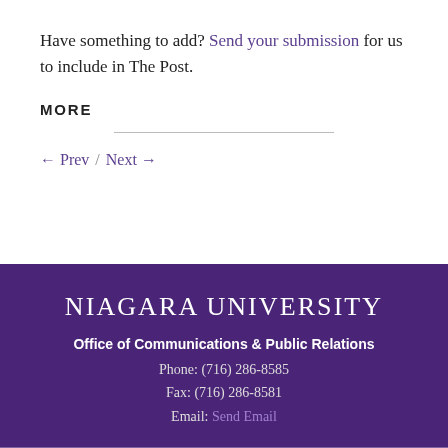Have something to add? Send your submission for us to include in The Post.
MORE
← Prev  /  Next →
NIAGARA UNIVERSITY
Office of Communications & Public Relations
Phone: (716) 286-8585
Fax: (716) 286-8581
Email: Send Email